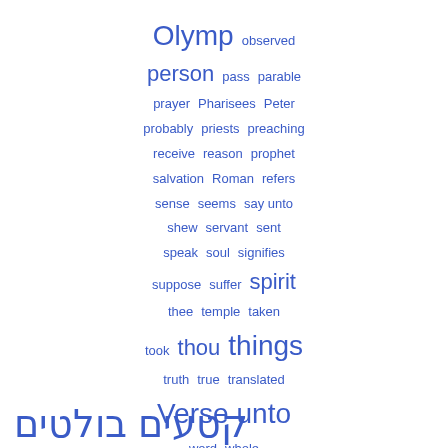[Figure (infographic): Word cloud in blue showing various English words at different sizes: Olymp, observed, person, pass, parable, prayer, Pharisees, Peter, probably, priests, preaching, receive, reason, prophet, salvation, Roman, refers, sense, seems, say unto, shew, servant, sent, speak, soul, signifies, suppose, suffer, spirit, thee, temple, taken, took, thou, things, truth, true, translated, Verse, unto, word, whole]
קטעים בולטים